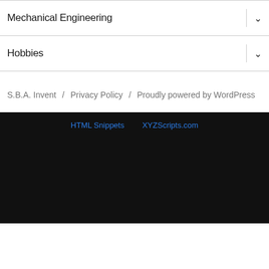Mechanical Engineering
Hobbies
S.B.A. Invent / Privacy Policy / Proudly powered by WordPress
HTML Snippets   XYZScripts.com